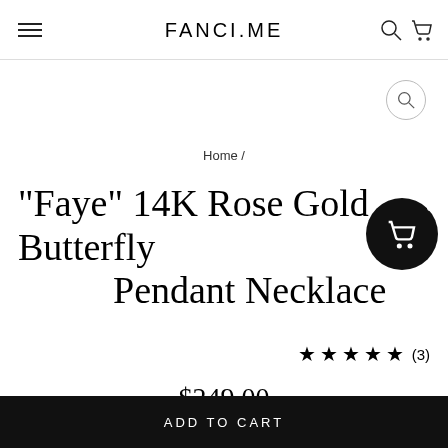FANCI.ME
Home /
“Faye” 14K Rose Gold Butterfly Pendant Necklace
★★★★★ (3)
$249.00
ADD TO CART